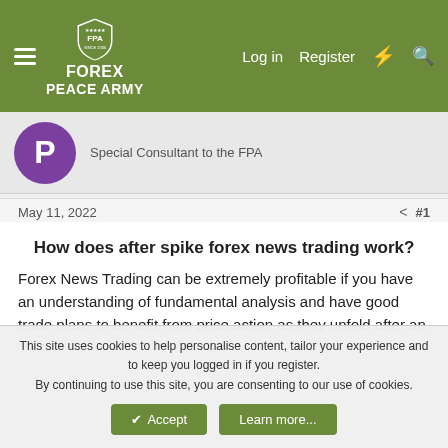FOREX PEACE ARMY — Log in  Register
Special Consultant to the FPA
May 11, 2022  #1
How does after spike forex news trading work?
Forex News Trading can be extremely profitable if you have an understanding of fundamental analysis and have good trade plans to benefit from price action as they unfold after an economic release. Do not worry, Forex Peace Army analyst will help you to identify high-probability tradable economic news reports and advise on the trading strategy. You can find more
This site uses cookies to help personalise content, tailor your experience and to keep you logged in if you register.
By continuing to use this site, you are consenting to our use of cookies.
Accept  Learn more...